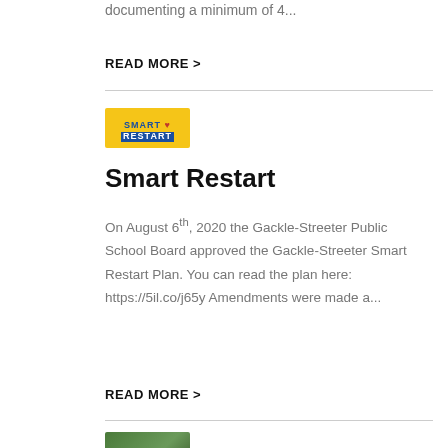documenting a minimum of 4...
READ MORE >
[Figure (logo): Smart Restart logo on yellow background with blue and white text]
Smart Restart
On August 6th, 2020 the Gackle-Streeter Public School Board approved the Gackle-Streeter Smart Restart Plan. You can read the plan here: https://5il.co/j65y Amendments were made a...
READ MORE >
[Figure (photo): Partial photo visible at bottom of page]